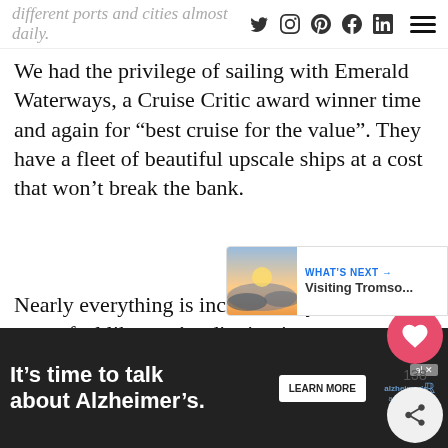different ports and cities almost daily.
We had the privilege of sailing with Emerald Waterways, a Cruise Critic award winner time and again for “best cruise for the value”. They have a fleet of beautiful upscale ships at a cost that won’t break the bank.
Nearly everything is included so you never feel like you’re dipping into your wallet and trip budget is increasing. You pay a price, fly to the initial point of embarkation and enjoy the included meals, beverages, amenities and tours.
[Figure (infographic): Heart/like button showing 138 likes, and share button floating on right side of page]
[Figure (infographic): What's Next panel showing a sunset/landscape thumbnail with text 'Visiting Tromso...']
[Figure (infographic): Advertisement banner: It's time to talk about Alzheimer's. Learn More. Alzheimer's Association logo.]